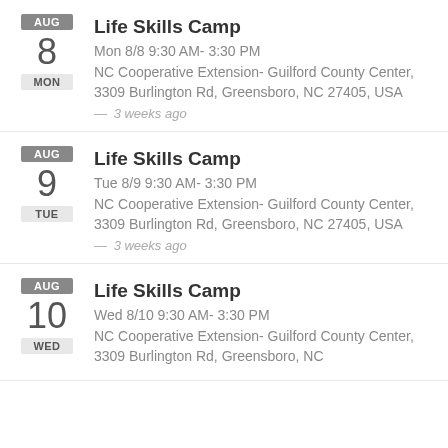AUG 8 MON Life Skills Camp | Mon 8/8 9:30 AM- 3:30 PM | NC Cooperative Extension- Guilford County Center, 3309 Burlington Rd, Greensboro, NC 27405, USA | — 3 weeks ago
AUG 9 TUE Life Skills Camp | Tue 8/9 9:30 AM- 3:30 PM | NC Cooperative Extension- Guilford County Center, 3309 Burlington Rd, Greensboro, NC 27405, USA | — 3 weeks ago
AUG 10 WED Life Skills Camp | Wed 8/10 9:30 AM- 3:30 PM | NC Cooperative Extension- Guilford County Center, 3309 Burlington Rd, Greensboro, NC